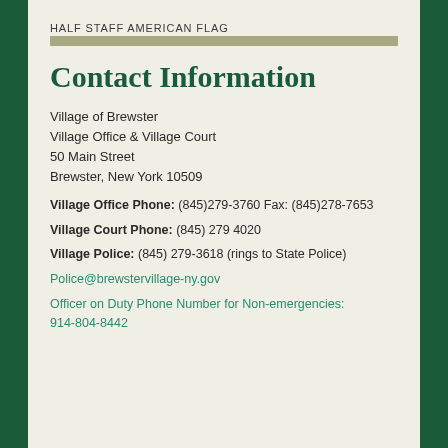HALF STAFF AMERICAN FLAG
Contact Information
Village of Brewster
Village Office & Village Court
50 Main Street
Brewster, New York 10509
Village Office Phone: (845)279-3760 Fax: (845)278-7653
Village Court Phone: (845) 279 4020
Village Police: (845) 279-3618 (rings to State Police)
Police@brewstervillage-ny.gov
Officer on Duty Phone Number for Non-emergencies:
914-804-8442